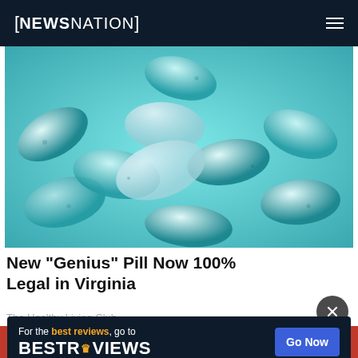NEWSNATION
[Figure (photo): Close-up photograph of many teal/turquoise colored capsule pills piled together, some with clear tops showing blue granules inside]
New "Genius" Pill Now 100% Legal in Virginia
The Healthy Living Club
[Figure (infographic): Advertisement banner: For the best reviews, go to BESTREVIEWS with a 'Go Now' button]